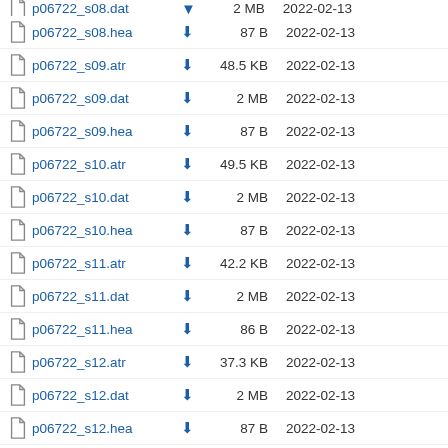p06722_s08.dat  2 MB  2022-02-13
p06722_s08.hea  87 B  2022-02-13
p06722_s09.atr  48.5 KB  2022-02-13
p06722_s09.dat  2 MB  2022-02-13
p06722_s09.hea  87 B  2022-02-13
p06722_s10.atr  49.5 KB  2022-02-13
p06722_s10.dat  2 MB  2022-02-13
p06722_s10.hea  87 B  2022-02-13
p06722_s11.atr  42.2 KB  2022-02-13
p06722_s11.dat  2 MB  2022-02-13
p06722_s11.hea  86 B  2022-02-13
p06722_s12.atr  37.3 KB  2022-02-13
p06722_s12.dat  2 MB  2022-02-13
p06722_s12.hea  87 B  2022-02-13